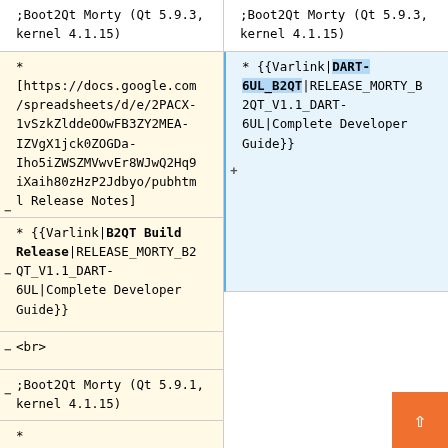;Boot2Qt Morty (Qt 5.9.3, kernel 4.1.15)
* [https://docs.google.com/spreadsheets/d/e/2PACX-1vSzkZlddeOOwFB3ZY2MEA-IZVgX1jck0ZOGDa-Iho5iZWSZMVwvEr8WJwQ2Hq9iXaih80zHzP2Jdbyo/pubhtml Release Notes]
* {{Varlink|B2QT Build Release|RELEASE_MORTY_B2QT_V1.1_DART-6UL|Complete Developer Guide}}
<br>
;Boot2Qt Morty (Qt 5.9.1, kernel 4.1.15)
*
;Boot2Qt Morty (Qt 5.9.3, kernel 4.1.15)
* {{Varlink|DART-6UL_B2QT|RELEASE_MORTY_B2QT_V1.1_DART-6UL|Complete Developer Guide}}